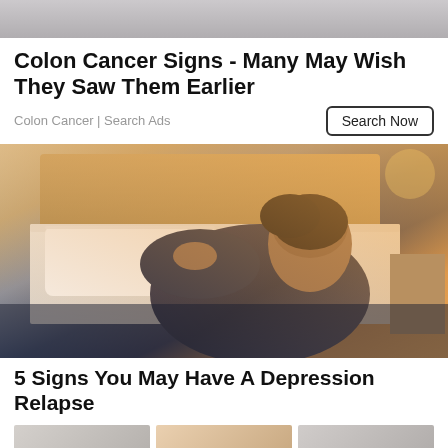[Figure (photo): Top portion of a photo, partially cropped, showing muted grey tones]
Colon Cancer Signs - Many May Wish They Saw Them Earlier
Colon Cancer | Search Ads
[Figure (photo): A man in a dark suit sitting on the floor leaning against a bed with his head down in distress, warm orange lighting in background suggesting a bedroom setting]
5 Signs You May Have A Depression Relapse
[Figure (photo): Bottom row of partially visible thumbnail images]